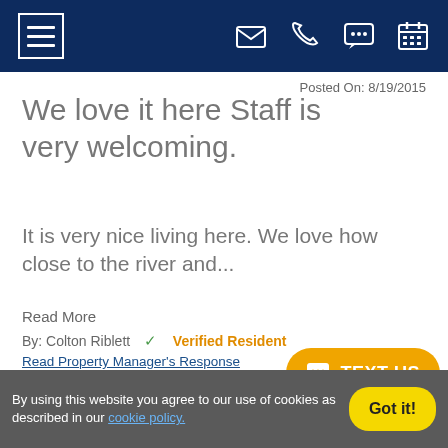Navigation bar with hamburger menu, email, phone, chat, and calendar icons
Posted On: 8/19/2015
We love it here Staff is very welcoming.
It is very nice living here. We love how close to the river and...
Read More
By: Colton Riblett ✓ Verified Resident
Read Property Manager's Response
Source: Excel
[Figure (other): Orange TEXT US button with chat bubble icon]
By using this website you agree to our use of cookies as described in our cookie policy. Got it!